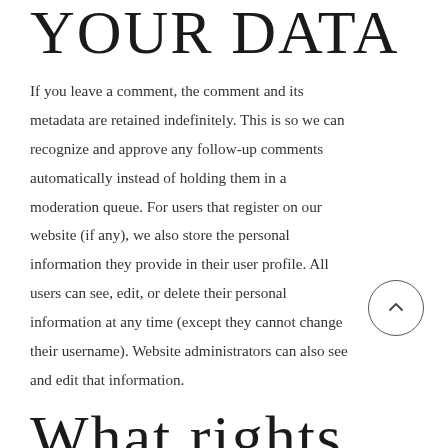WE RETAIN YOUR DATA
If you leave a comment, the comment and its metadata are retained indefinitely. This is so we can recognize and approve any follow-up comments automatically instead of holding them in a moderation queue. For users that register on our website (if any), we also store the personal information they provide in their user profile. All users can see, edit, or delete their personal information at any time (except they cannot change their username). Website administrators can also see and edit that information.
WHAT RIGHTS